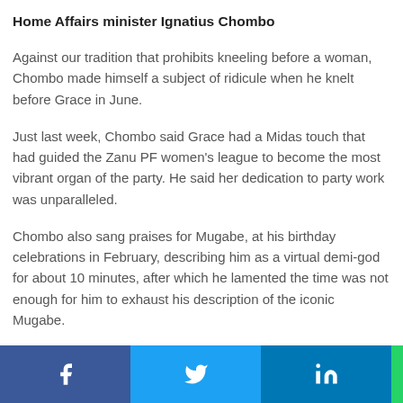Home Affairs minister Ignatius Chombo
Against our tradition that prohibits kneeling before a woman, Chombo made himself a subject of ridicule when he knelt before Grace in June.
Just last week, Chombo said Grace had a Midas touch that had guided the Zanu PF women's league to become the most vibrant organ of the party. He said her dedication to party work was unparalleled.
Chombo also sang praises for Mugabe, at his birthday celebrations in February, describing him as a virtual demi-god for about 10 minutes, after which he lamented the time was not enough for him to exhaust his description of the iconic Mugabe.
“The master of ceremonies here has given me limited time and I can no longer say all the superlatives to describe this man,” Chombo told a